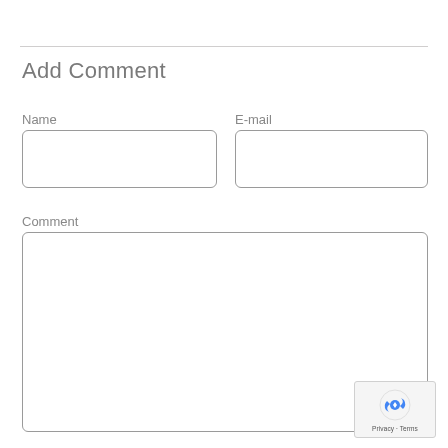Add Comment
Name
E-mail
Comment
[Figure (screenshot): reCAPTCHA privacy badge with logo and Privacy - Terms text]